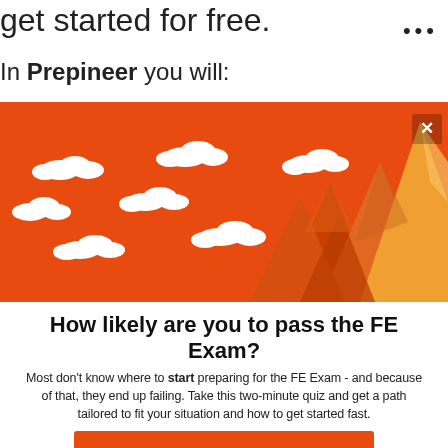get started for free.
In Prepineer you will:
[Figure (illustration): Orange banner illustration with white clouds, orange/yellow mountain peaks on the right side, and a white X close button in the top-right corner. Background is solid orange.]
How likely are you to pass the FE Exam?
Most don't know where to start preparing for the FE Exam - and because of that, they end up failing. Take this two-minute quiz and get a path tailored to fit your situation and how to get started fast.
TAKE THE QUIZ